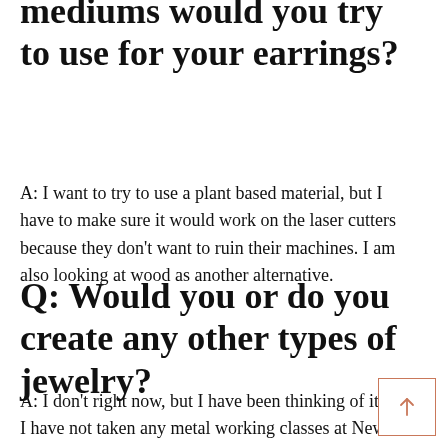mediums would you try to use for your earrings?
A: I want to try to use a plant based material, but I have to make sure it would work on the laser cutters because they don't want to ruin their machines. I am also looking at wood as another alternative.
Q: Would you or do you create any other types of jewelry?
A: I don't right now, but I have been thinking of it. I have not taken any metal working classes at New Pa but I definitely want to take one those.